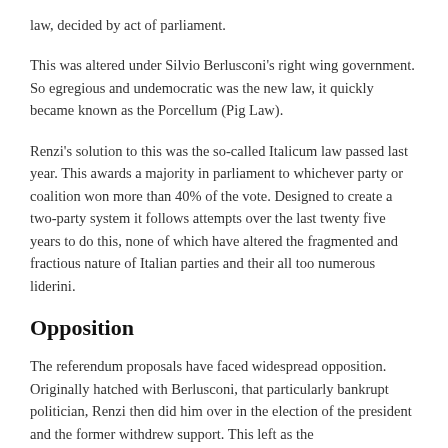law, decided by act of parliament.
This was altered under Silvio Berlusconi's right wing government. So egregious and undemocratic was the new law, it quickly became known as the Porcellum (Pig Law).
Renzi's solution to this was the so-called Italicum law passed last year. This awards a majority in parliament to whichever party or coalition won more than 40% of the vote. Designed to create a two-party system it follows attempts over the last twenty five years to do this, none of which have altered the fragmented and fractious nature of Italian parties and their all too numerous liderini.
Opposition
The referendum proposals have faced widespread opposition. Originally hatched with Berlusconi, that particularly bankrupt politician, Renzi then did him over in the election of the president and the former withdrew support. This left as the